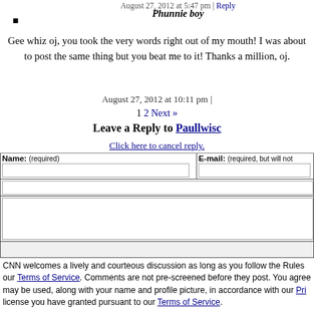August 27, 2012 at 5:47 pm | Reply
Phunnie boy
Gee whiz oj, you took the very words right out of my mouth! I was about to post the same thing but you beat me to it! Thanks a million, oj.
August 27, 2012 at 10:11 pm |
1 2 Next »
Leave a Reply to Paullwisc
Click here to cancel reply.
CNN welcomes a lively and courteous discussion as long as you follow the Rules our Terms of Service. Comments are not pre-screened before they post. You agree may be used, along with your name and profile picture, in accordance with our Pri license you have granted pursuant to our Terms of Service.